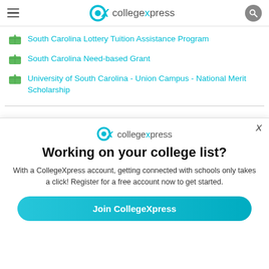collegexpress
South Carolina Lottery Tuition Assistance Program
South Carolina Need-based Grant
University of South Carolina - Union Campus - National Merit Scholarship
[Figure (screenshot): CollegeXpress modal popup with logo, headline 'Working on your college list?', body text about registering for a free account, and a 'Join CollegeXpress' button.]
Working on your college list?
With a CollegeXpress account, getting connected with schools only takes a click! Register for a free account now to get started.